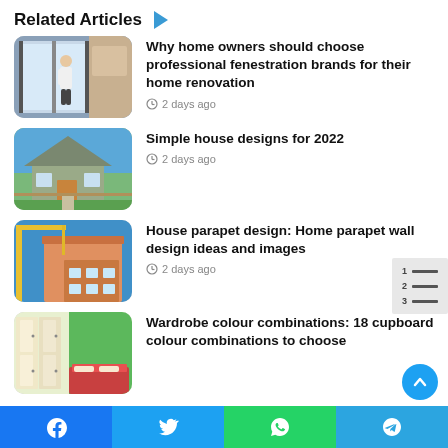Related Articles
[Figure (photo): Person installing or adjusting a large glass sliding door/window]
Why home owners should choose professional fenestration brands for their home renovation
2 days ago
[Figure (photo): Small house with green lawn and garden]
Simple house designs for 2022
2 days ago
[Figure (photo): House under construction with crane]
House parapet design: Home parapet wall design ideas and images
2 days ago
[Figure (photo): Colorful wardrobe/cupboard in a bedroom]
Wardrobe colour combinations: 18 cupboard colour combinations to choose
Facebook  Twitter  WhatsApp  Telegram